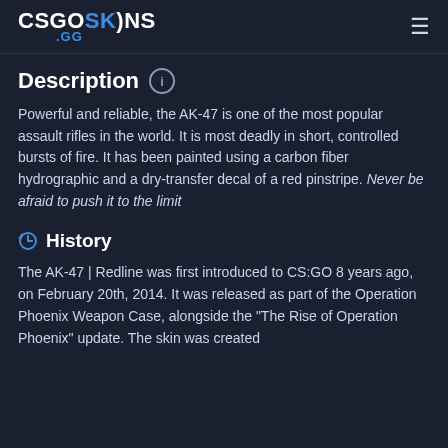CSGOSKINS .GG
Description
Powerful and reliable, the AK-47 is one of the most popular assault rifles in the world. It is most deadly in short, controlled bursts of fire. It has been painted using a carbon fiber hydrographic and a dry-transfer decal of a red pinstripe. Never be afraid to push it to the limit
History
The AK-47 | Redline was first introduced to CS:GO 8 years ago, on February 20th, 2014. It was released as part of the Operation Phoenix Weapon Case, alongside the "The Rise of Operation Phoenix" update. The skin was created